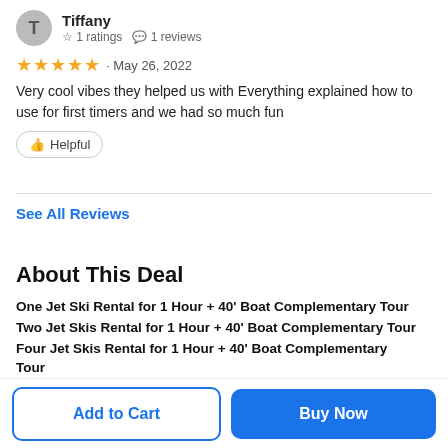Tiffany · 1 ratings · 1 reviews
★★★★★ · May 26, 2022
Very cool vibes they helped us with Everything explained how to use for first timers and we had so much fun
👍 Helpful
See All Reviews
About This Deal
One Jet Ski Rental for 1 Hour + 40' Boat Complementary Tour
Two Jet Skis Rental for 1 Hour + 40' Boat Complementary Tour
Four Jet Skis Rental for 1 Hour + 40' Boat Complementary Tour
Add to Cart
Buy Now